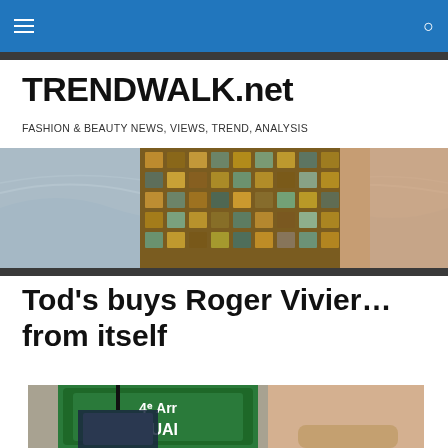TRENDWALK.net navigation bar
TRENDWALK.net
FASHION & BEAUTY NEWS, VIEWS, TREND, ANALYSIS
[Figure (photo): Fashion photo showing colorful patterned fabric/garment with mosaic-like print in browns and teals, with ocean waves visible in the background]
Tod's buys Roger Vivier… from itself
[Figure (photo): Fashion photo showing a green Paris metro/street sign reading '4e Arr' and 'QUAI', with a person holding a bag visible]